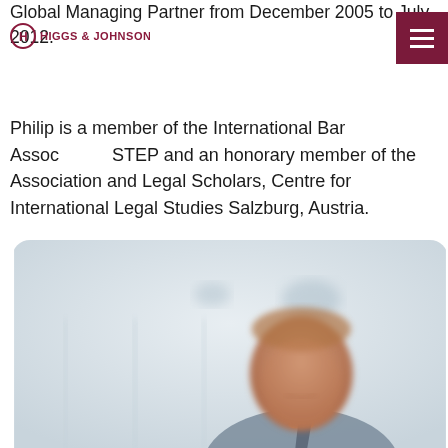Global Managing Partner from December 2005 to July 2012.
HIGGS & JOHNSON
Philip is a member of the International Bar Association, STEP and an honorary member of the Association and Legal Scholars, Centre for International Legal Studies Salzburg, Austria.
[Figure (photo): Professional headshot of a man in a suit, with a blurred light background, smiling slightly]